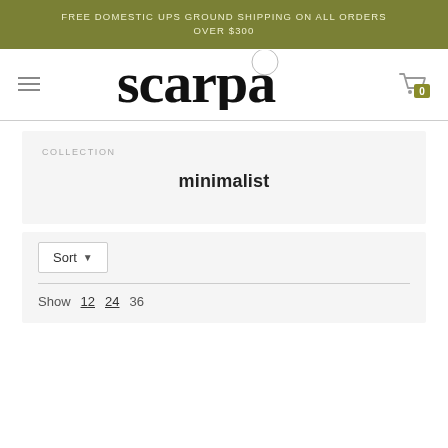FREE DOMESTIC UPS GROUND SHIPPING ON ALL ORDERS OVER $300
[Figure (logo): Scarpa brand logo in large serif font with decorative circular element]
COLLECTION
minimalist
Sort ▾
Show 12 24 36